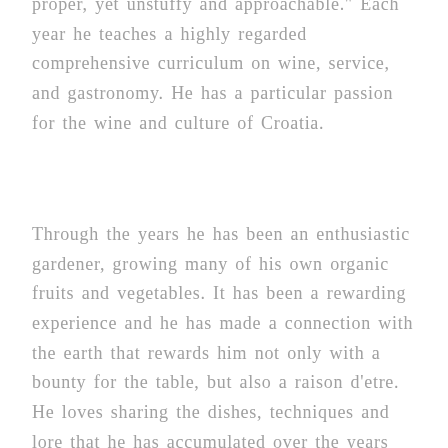proper, yet unstuffy and approachable." Each year he teaches a highly regarded comprehensive curriculum on wine, service, and gastronomy. He has a particular passion for the wine and culture of Croatia.
Through the years he has been an enthusiastic gardener, growing many of his own organic fruits and vegetables. It has been a rewarding experience and he has made a connection with the earth that rewards him not only with a bounty for the table, but also a raison d'etre. He loves sharing the dishes, techniques and lore that he has accumulated over the years with his guests and students.